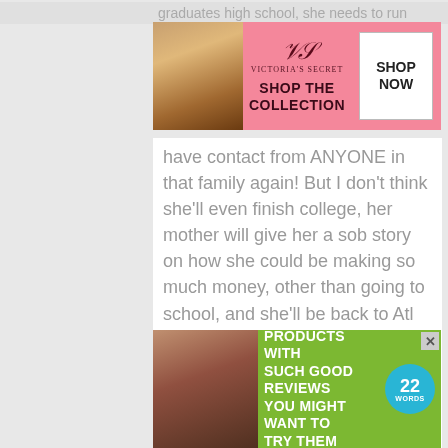graduates high school, she needs to run
[Figure (screenshot): Victoria's Secret advertisement banner with model, logo, 'SHOP THE COLLECTION' text, and 'SHOP NOW' button on pink background]
have contact from ANYONE in that family again! But I don't think she'll even finish college, her mother will give her a sob story on how she could be making so much money, other than going to school, and she'll be back to Atl with the brats, her POS mother, POS sister and step-mother… I mean step-father! because Who invthe world is going to take care of all the little brats?? Her mother sure as hell won't be ?
Reply
[Figure (screenshot): Green advertisement banner: '37 BEAUTY PRODUCTS WITH SUCH GOOD REVIEWS YOU MIGHT WANT TO TRY THEM YOURSELF' with woman model and '22 WORDS' badge]